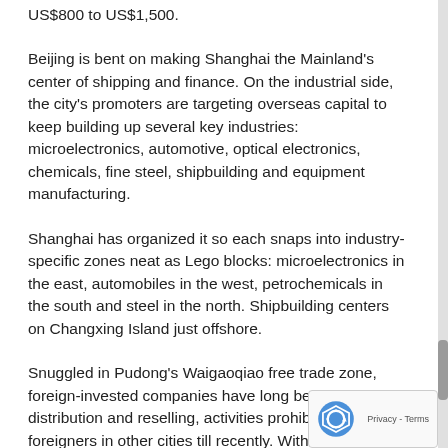US$800 to US$1,500.
Beijing is bent on making Shanghai the Mainland's center of shipping and finance. On the industrial side, the city's promoters are targeting overseas capital to keep building up several key industries: microelectronics, automotive, optical electronics, chemicals, fine steel, shipbuilding and equipment manufacturing.
Shanghai has organized it so each snaps into industry-specific zones neat as Lego blocks: microelectronics in the east, automobiles in the west, petrochemicals in the south and steel in the north. Shipbuilding centers on Changxing Island just offshore.
Snuggled in Pudong's Waigaoqiao free trade zone, foreign-invested companies have long been doing distribution and reselling, activities prohibited for foreigners in other cities till recently. With last year's deregulation of distribution, Pudong has changed its